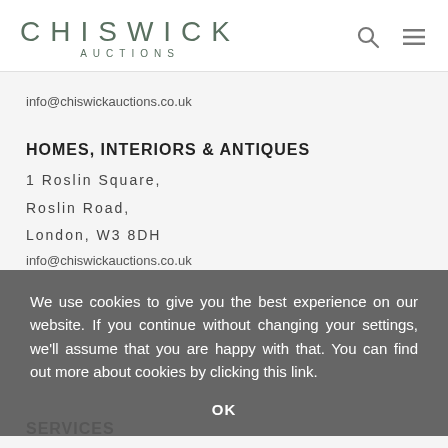[Figure (logo): Chiswick Auctions logo with stylized text in teal/muted green color]
info@chiswickauctions.co.uk
HOMES, INTERIORS & ANTIQUES
1 Roslin Square,
Roslin Road,
London, W3 8DH
info@chiswickauctions.co.uk
We use cookies to give you the best experience on our website. If you continue without changing your settings, we'll assume that you are happy with that. You can find out more about cookies by clicking this link.
OK
SERVICES